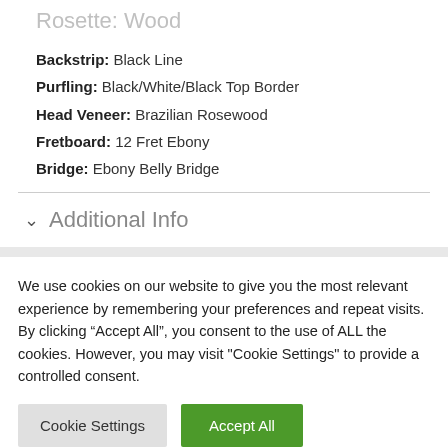Rosette: Wood
Backstrip: Black Line
Purfling: Black/White/Black Top Border
Head Veneer: Brazilian Rosewood
Fretboard: 12 Fret Ebony
Bridge: Ebony Belly Bridge
Additional Info
We use cookies on our website to give you the most relevant experience by remembering your preferences and repeat visits. By clicking “Accept All”, you consent to the use of ALL the cookies. However, you may visit "Cookie Settings" to provide a controlled consent.
Cookie Settings | Accept All